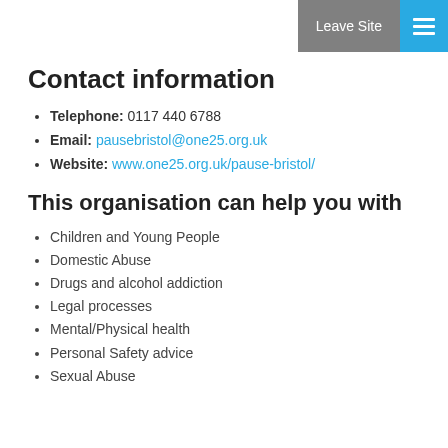Contact information | Leave Site [menu]
Contact information
Telephone: 0117 440 6788
Email: pausebristol@one25.org.uk
Website: www.one25.org.uk/pause-bristol/
This organisation can help you with
Children and Young People
Domestic Abuse
Drugs and alcohol addiction
Legal processes
Mental/Physical health
Personal Safety advice
Sexual Abuse